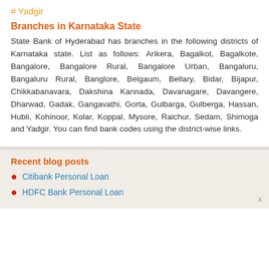# Yadgir
Branches in Karnataka State
State Bank of Hyderabad has branches in the following districts of Karnataka state. List as follows: Arikera, Bagalkot, Bagalkote, Bangalore, Bangalore Rural, Bangalore Urban, Bangaluru, Bangaluru Rural, Banglore, Belgaum, Bellary, Bidar, Bijapur, Chikkabanavara, Dakshina Kannada, Davanagare, Davangere, Dharwad, Gadak, Gangavathi, Gorta, Gulbarga, Gulberga, Hassan, Hubli, Kohinoor, Kolar, Koppal, Mysore, Raichur, Sedam, Shimoga and Yadgir. You can find bank codes using the district-wise links.
Recent blog posts
Citibank Personal Loan
HDFC Bank Personal Loan